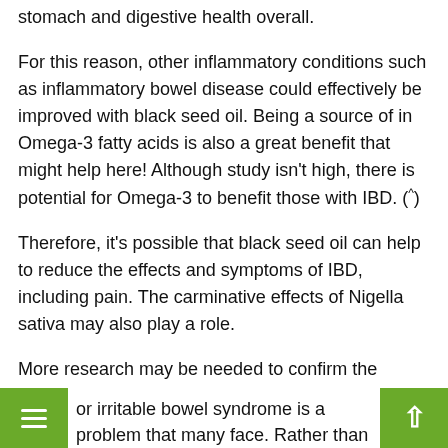stomach and digestive health overall.
For this reason, other inflammatory conditions such as inflammatory bowel disease could effectively be improved with black seed oil. Being a source of in Omega-3 fatty acids is also a great benefit that might help here! Although study isn't high, there is potential for Omega-3 to benefit those with IBD. (^)
Therefore, it's possible that black seed oil can help to reduce the effects and symptoms of IBD, including pain. The carminative effects of Nigella sativa may also play a role.
More research may be needed to confirm the above, particularly in long-term usage. We will discuss this later on when speaking about any possible side effects.
Overall, there is a large potential for Nigella sativa to benefit this chronic illness (^).
13. IBS (Irritable Bowel Syndrome)
or irritable bowel syndrome is a problem that many face. Rather than being a second edition or defined disease, it is a